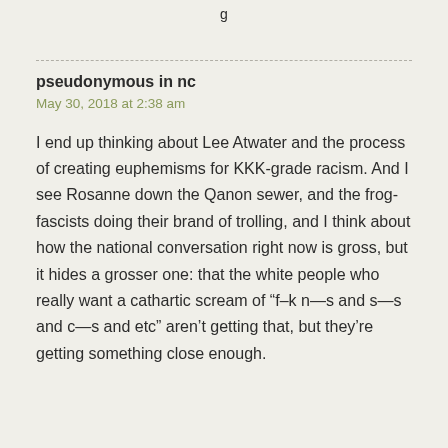g
pseudonymous in nc
May 30, 2018 at 2:38 am
I end up thinking about Lee Atwater and the process of creating euphemisms for KKK-grade racism. And I see Rosanne down the Qanon sewer, and the frog-fascists doing their brand of trolling, and I think about how the national conversation right now is gross, but it hides a grosser one: that the white people who really want a cathartic scream of “f–k n—s and s—s and c—s and etc” aren’t getting that, but they’re getting something close enough.